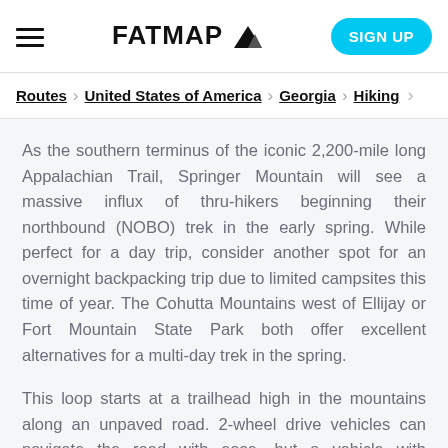FATMAP [logo with mountain icon] | SIGN UP
Routes > United States of America > Georgia > Hiking >
As the southern terminus of the iconic 2,200-mile long Appalachian Trail, Springer Mountain will see a massive influx of thru-hikers beginning their northbound (NOBO) trek in the early spring. While perfect for a day trip, consider another spot for an overnight backpacking trip due to limited campsites this time of year. The Cohutta Mountains west of Ellijay or Fort Mountain State Park both offer excellent alternatives for a multi-day trek in the spring.
This loop starts at a trailhead high in the mountains along an unpaved road. 2-wheel drive vehicles can navigate the road with ease, but a vehicle with moderate clearance comes highly recommended.